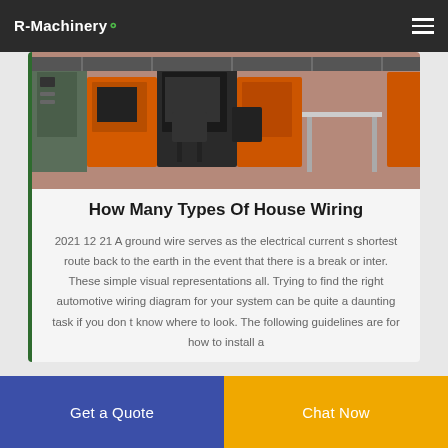R-Machinery
[Figure (photo): Industrial machinery in a factory setting with orange and green equipment]
How Many Types Of House Wiring
2021 12 21 A ground wire serves as the electrical current s shortest route back to the earth in the event that there is a break or inter. These simple visual representations all. Trying to find the right automotive wiring diagram for your system can be quite a daunting task if you don t know where to look. The following guidelines are for how to install a
Get a Quote
Chat Now